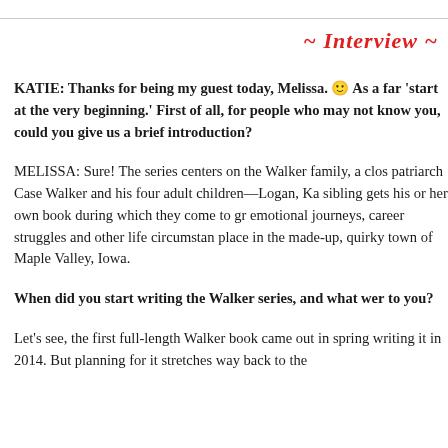~ Interview ~
KATIE: Thanks for being my guest today, Melissa. 🙂 As a fan, I like to 'start at the very beginning.' First of all, for people who may not know you, could you give us a brief introduction?
MELISSA: Sure! The series centers on the Walker family, a close-knit clan headed by patriarch Case Walker and his four adult children—Logan, Ka... Each sibling gets his or her own book during which they come to grips with emotional journeys, career struggles and other life circumstances that take place in the made-up, quirky town of Maple Valley, Iowa.
When did you start writing the Walker series, and what were... to you?
Let's see, the first full-length Walker book came out in spring... writing it in 2014. But planning for it stretches way back to th...